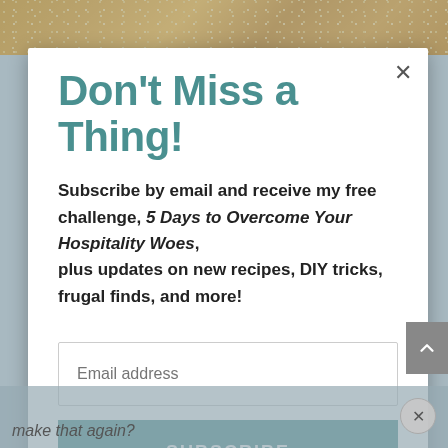[Figure (photo): Food photo background showing sesame-coated fried food (likely chicken wings or similar), golden brown with sesame seeds visible]
Don't Miss a Thing!
Subscribe by email and receive my free challenge, 5 Days to Overcome Your Hospitality Woes, plus updates on new recipes, DIY tricks, frugal finds, and more!
Email address
SUBSCRIBE